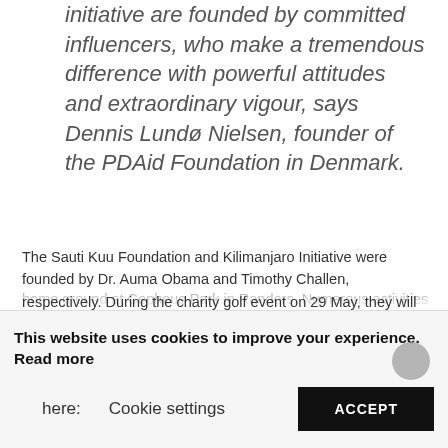initiative are founded by committed influencers, who make a tremendous difference with powerful attitudes and extraordinary vigour, says Dennis Lundø Nielsen, founder of the PDAid Foundation in Denmark.
The Sauti Kuu Foundation and Kilimanjaro Initiative were founded by Dr. Auma Obama and Timothy Challen, respectively. During the charity golf event on 29 May, they will both take part in a round of golf on the beautiful course at Randers Golf Club, where up to 150 people will have the opportunity to participate. Obama and Challen will also attend the subsequent charity dinner at Randers FC's home ground at Cepheus Park in Randers. Numerous activities will
This website uses cookies to improve your experience. Read more here: Cookie settings ACCEPT